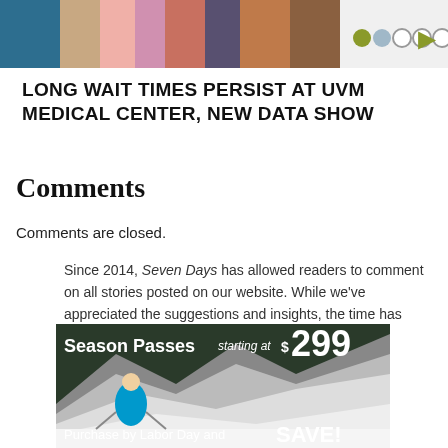[Figure (illustration): Cropped illustration of multiple people/characters in colorful clothing at the top of the page, with a row of navigation dots (olive, blue, white, white, white) on the right side]
LONG WAIT TIMES PERSIST AT UVM MEDICAL CENTER, NEW DATA SHOW
Comments
Comments are closed.
Since 2014, Seven Days has allowed readers to comment on all stories posted on our website. While we've appreciated the suggestions and insights, the time has come to shut them down — at least temporarily.
[Figure (photo): Advertisement banner: Season Passes starting at $299. Purchase by Labor Day and SAVE! Shows a skier on a snowy slope.]